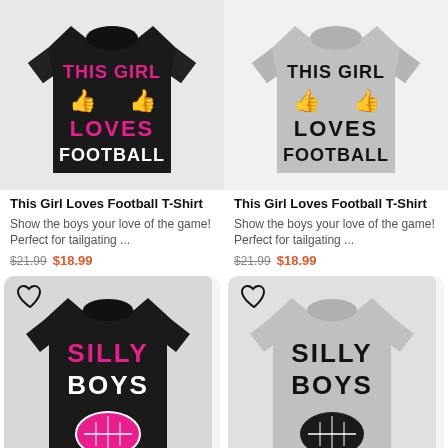[Figure (photo): Black t-shirt with text THIS GIRL LOVES FOOTBALL in pink and white, with thumbs-up icons]
[Figure (photo): Gray t-shirt with text THIS GIRL LOVES FOOTBALL in black and white, with thumbs-up icons]
This Girl Loves Football T-Shirt
Show the boys your love of the game! Perfect for tailgating ...
$21.99  $18.99
This Girl Loves Football T-Shirt
Show the boys your love of the game! Perfect for tailgating ...
$21.99  $18.99
[Figure (photo): Black t-shirt with SILLY BOYS FOOTBALL'S FOR GIRLS text in pink and white with pink football graphic]
[Figure (photo): Gray t-shirt with SILLY BOYS FOOTBALL'S FOR GIRLS text in black with dark football graphic]